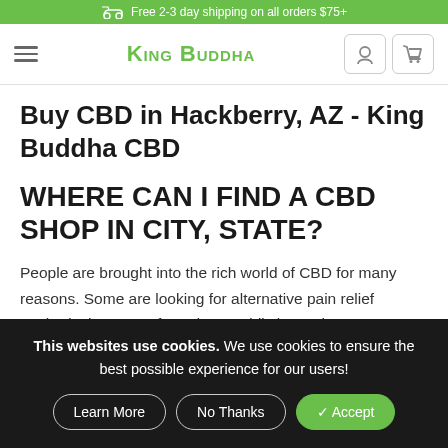Free 2-3 day shipping on all orders $75+
King Buddha
Buy CBD in Hackberry, AZ - King Buddha CBD
WHERE CAN I FIND A CBD SHOP IN CITY, STATE?
People are brought into the rich world of CBD for many reasons. Some are looking for alternative pain relief methods that are safe and non-addictive. Others are
This websites use cookies. We use cookies to ensure the best possible experience for our users!